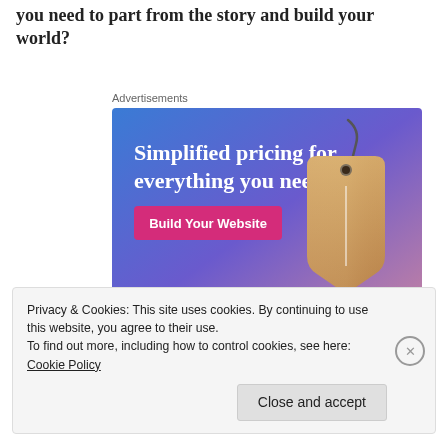What do you think? At what point in World Building do you need to part from the story and build your world?
Advertisements
[Figure (illustration): WordPress.com advertisement with gradient blue-purple background, text 'Simplified pricing for everything you need.', a pink 'Build Your Website' button, a 3D price tag graphic, and WordPress.com logo]
Privacy & Cookies: This site uses cookies. By continuing to use this website, you agree to their use.
To find out more, including how to control cookies, see here: Cookie Policy
Close and accept